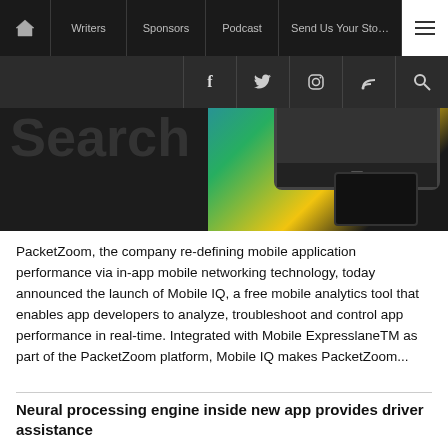Navigation: Home | Writers | Sponsors | Podcast | Send Us Your Story | Menu
Social icons: Facebook, Twitter, Instagram, RSS, Search
[Figure (screenshot): Search overlay text and mobile device screenshot showing colorful app interface on dark background]
PacketZoom, the company re-defining mobile application performance via in-app mobile networking technology, today announced the launch of Mobile IQ, a free mobile analytics tool that enables app developers to analyze, troubleshoot and control app performance in real-time. Integrated with Mobile ExpresslaneTM as part of the PacketZoom platform, Mobile IQ makes PacketZoom...
Neural processing engine inside new app provides driver assistance